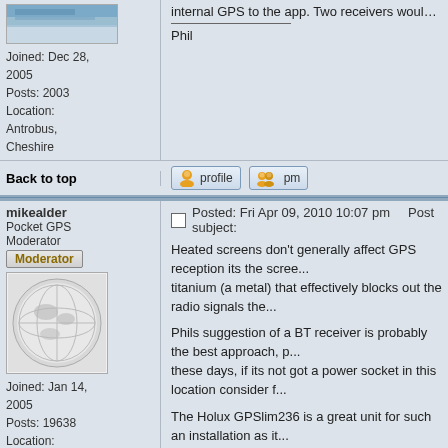internal GPS to the app. Two receivers would probably not impro...
Phil
Joined: Dec 28, 2005
Posts: 2003
Location: Antrobus, Cheshire
Back to top
[Figure (screenshot): Profile and PM buttons]
mikealder
Pocket GPS Moderator
Moderator
[Figure (photo): Globe avatar image]
Joined: Jan 14, 2005
Posts: 19638
Location: Blackpool , Lancs
Posted: Fri Apr 09, 2010 10:07 pm    Post subject:
Heated screens don't generally affect GPS reception its the scree... titanium (a metal) that effectively blocks out the radio signals the...
Phils suggestion of a BT receiver is probably the best approach, p... these days, if its not got a power socket in this location consider f...
The Holux GPSlim236 is a great unit for such an installation as it... start the receiver - Its an old device but still has credible performa...
As for software to run multiple receivers, this can be done but wo... receivers, one BT, one CF, one Serial and the built in device woul... receivers fitted to the roof of the old Ovlov that all fed in to a diffe... experiment is was good fun but when the signal degraded due to... time - Mike